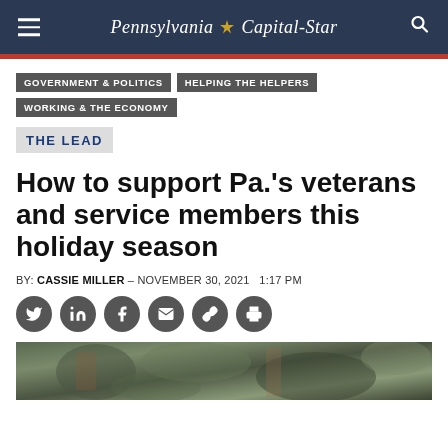Pennsylvania Capital-Star
GOVERNMENT & POLITICS
HELPING THE HELPERS
WORKING & THE ECONOMY
THE LEAD
How to support Pa.'s veterans and service members this holiday season
BY: CASSIE MILLER - NOVEMBER 30, 2021   1:17 PM
[Figure (photo): Close-up photo of military camouflage uniform/soldiers]